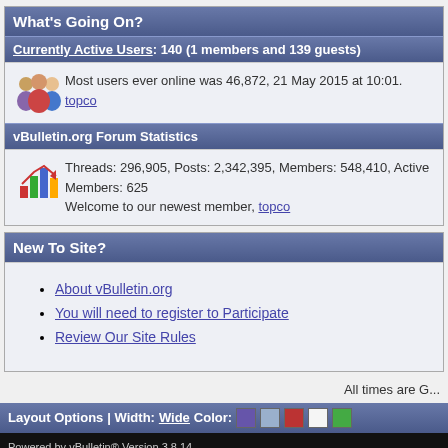What's Going On?
Currently Active Users: 140 (1 members and 139 guests)
Most users ever online was 46,872, 21 May 2015 at 10:01. topco
vBulletin.org Forum Statistics
Threads: 296,905, Posts: 2,342,395, Members: 548,410, Active Members: 625. Welcome to our newest member, topco
New To Site?
About vBulletin.org
You will need to register to Participate
Review Our Site Rules
All times are G...
Layout Options | Width: Wide Color:
Powered by vBulletin® Version 3.8.14
Copyright © 2022, MH Sub I, LLC dba vBulletin. All Rights Reserved. vBulletin® is a registered trad...
Copyright ©2001 - 2022, vbulletin.org. All rights reserved.
vBulletin® is a registered trademark.